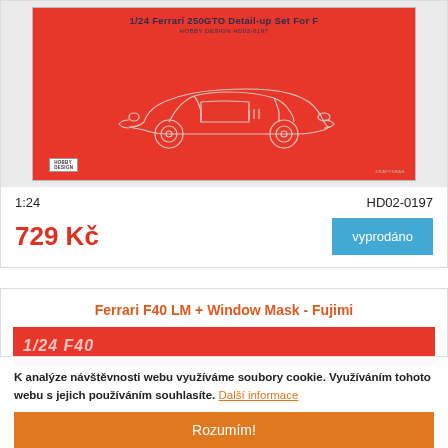[Figure (photo): Product packaging image: red box for '1/24 Ferrari 250GTO Detail-up Set For F' by Hobby Design HD02-0197, showing a line drawing of the Ferrari 250GTO on the red box cover]
1:24
HD02-0197
729 Kč
vyprodáno
Ferrari F40 LM + Window Mask - Fujimi
[Figure (photo): Partial view of a red product box for Ferrari F40 LM kit]
K analýze návštěvnosti webu využíváme soubory cookie. Využíváním tohoto webu s jejich používáním souhlasíte. Další informace
Rozumím!